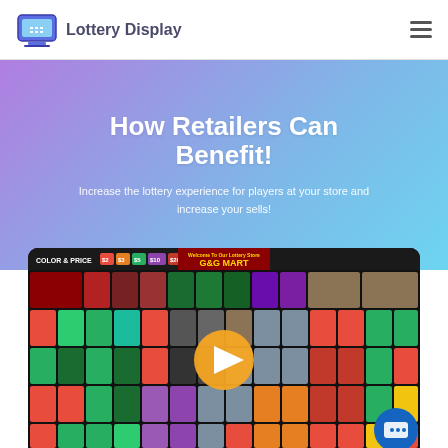Lottery Display
How Retailers Can Benefit!
Increase the lottery experience for players at your store and increase your sells!
[Figure (screenshot): Lottery display software screenshot showing a grid of scratch ticket thumbnails organized by color and price, with a G&G Mart store header, and a play button overlay in the center]